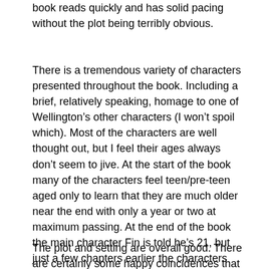book reads quickly and has solid pacing without the plot being terribly obvious.
There is a tremendous variety of characters presented throughout the book. Including a brief, relatively speaking, homage to one of Wellington’s other characters (I won’t spoil which). Most of the characters are well thought out, but I feel their ages always don’t seem to jive. At the start of the book many of the characters feel teen/pre-teen aged only to learn that they are much older near the end with only a year or two at maximum passing. At the end of the book the main character Fin is told he’s 21, but just a few chapters earlier the characters voice doesn’t feel nearly that aged. During the reading this wasn’t that apparent only really is it coming to me once here reviewing.
The plot and setting are overall good. There are certainly some happy coincidences that were required